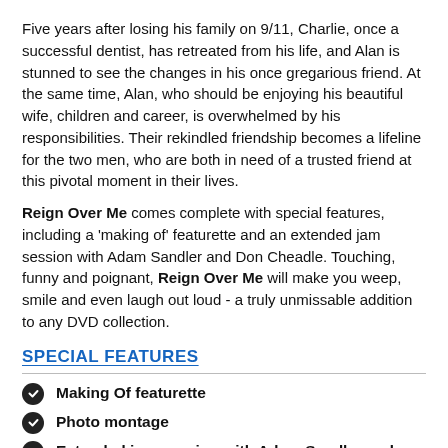Five years after losing his family on 9/11, Charlie, once a successful dentist, has retreated from his life, and Alan is stunned to see the changes in his once gregarious friend. At the same time, Alan, who should be enjoying his beautiful wife, children and career, is overwhelmed by his responsibilities. Their rekindled friendship becomes a lifeline for the two men, who are both in need of a trusted friend at this pivotal moment in their lives.
Reign Over Me comes complete with special features, including a 'making of' featurette and an extended jam session with Adam Sandler and Don Cheadle. Touching, funny and poignant, Reign Over Me will make you weep, smile and even laugh out loud - a truly unmissable addition to any DVD collection.
SPECIAL FEATURES
Making Of featurette
Photo montage
Extended jam session with Adam Sandler and Don Cheadle
Photo montage